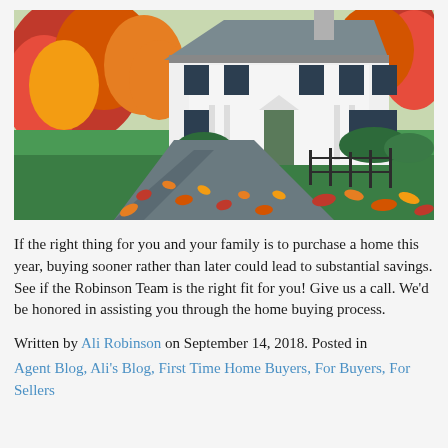[Figure (photo): A large white colonial-style house with black shutters, surrounded by autumn trees with red, orange, and yellow leaves. A curved driveway with fallen leaves leads to the house, with green lawn and hedges visible.]
If the right thing for you and your family is to purchase a home this year, buying sooner rather than later could lead to substantial savings. See if the Robinson Team is the right fit for you! Give us a call. We'd be honored in assisting you through the home buying process.
Written by Ali Robinson on September 14, 2018. Posted in Agent Blog, Ali's Blog, First Time Home Buyers, For Buyers, For Sellers